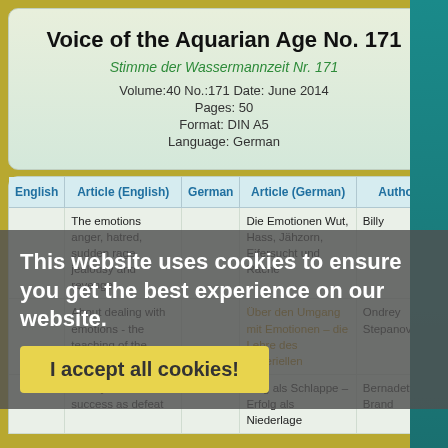Voice of the Aquarian Age No. 171
Stimme der Wassermannzeit Nr. 171
Volume:40  No.:171  Date: June 2014
Pages: 50
Format: DIN A5
Language: German
| English | Article (English) | German | Article (German) | Author |
| --- | --- | --- | --- | --- |
|  | The emotions anger, hatred, sudden rage, jealousy and revenge... |  | Die Emotionen Wut, Hass, Jähzorn, Eifersucht und Rache... | Billy |
|  | About dealing with emotions - the teaching of the material |  | Über den Umgang mit Emotionen – die Lehre des Materiellen | Ondrey Stepanovski |
|  | Victory as setback - success as defeat |  | Sieg als Schlappe – Erfolg als Niederlage | Bernadette Brand |
This website uses cookies to ensure you get the best experience on our website.
I accept all cookies!